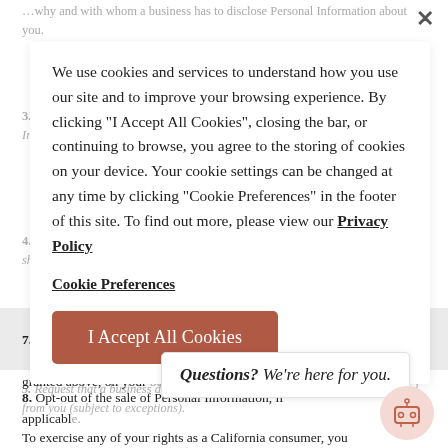...why and with whom a business has to disclose Personal Information about you.
We use cookies and services to understand how you use our site and to improve your browsing experience. By clicking "I Accept All Cookies", closing the bar, or continuing to browse, you agree to the storing of cookies on your device. Your cookie settings can be changed at any time by clicking "Cookie Preferences" in the footer of this site. To find out more, please view our Privacy Policy
3. Disclose to the Business or Commercial Purpose(s) for which Your Personal Information Was Collected or Sold.
4. Receive a list of the categories of third parties with whom a business has shared your Personal Information.
5. Request that a business delete any Personal Information that it has collected from you (subject to exceptions).
Cookie Preferences
6. Not be discriminated against by a business (e.g. charged different prices or rates, offered different levels of service, denied goods or services, or suggested any of the preceding) for exercising any of the individual rights granted above.
7. Designate an authorized agent to make a request for any of the rights granted above, on your behalf.
Questions? We're here for you.
8. Opt-out of the sale of Personal Information, if applicable.
To exercise any of your rights as a California consumer, you